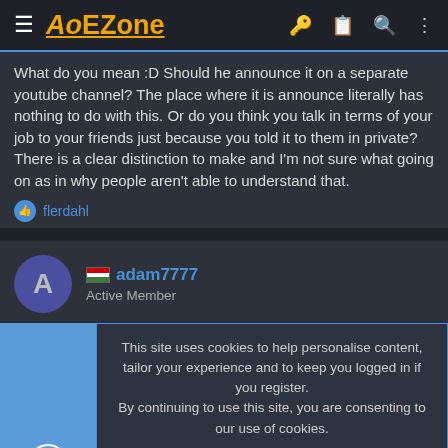AoEZone
What do you mean :D Should he announce it on a separate youtube channel? The place where it is announce literally has nothing to do with this. Or do you think you talk in terms of your job to your friends just because you told it to them in private? There is a clear distinction to make and I'm not sure what going on as in why people aren't able to understand that.
flerdahl
adam7777 — Active Member
This site uses cookies to help personalise content, tailor your experience and to keep you logged in if you register. By continuing to use this site, you are consenting to our use of cookies.